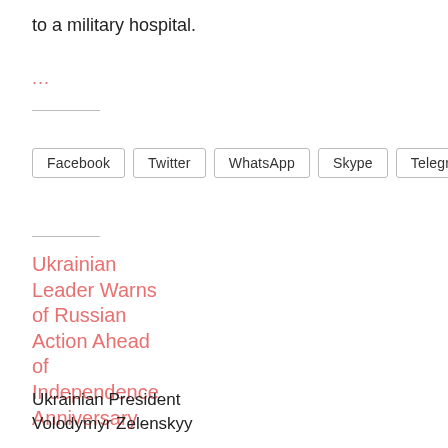to a military hospital.
...
[Figure (other): Social share buttons: Facebook, Twitter, WhatsApp, Skype, Telegram]
Ukrainian Leader Warns of Russian Action Ahead of Independence Anniversary
Ukrainian President Volodymyr Zelenskyy